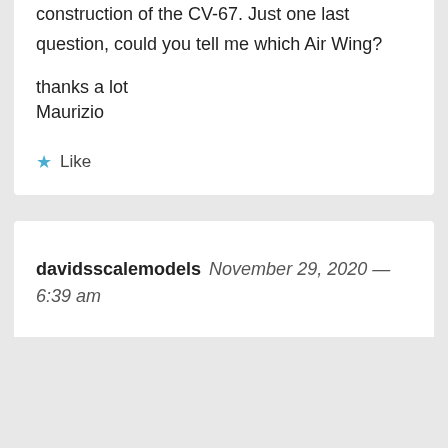construction of the CV-67. Just one last question, could you tell me which Air Wing?
thanks a lot
Maurizio
★ Like
davidsscalemodels November 29, 2020 — 6:39 am